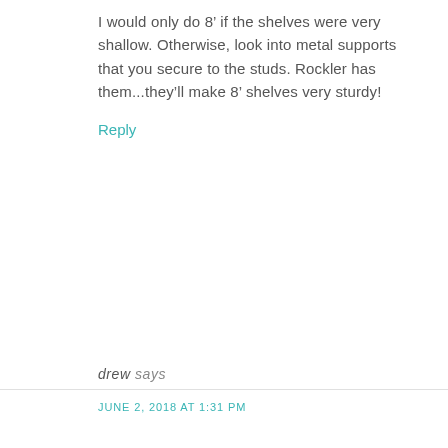I would only do 8' if the shelves were very shallow. Otherwise, look into metal supports that you secure to the studs. Rockler has them...they'll make 8' shelves very sturdy!
Reply
drew says
JUNE 2, 2018 AT 1:31 PM